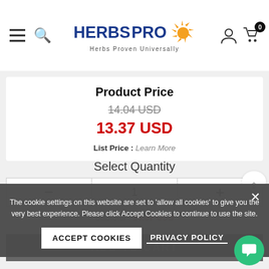[Figure (logo): HerbsPro logo with sun icon and tagline 'Herbs Proven Universally']
Product Price
14.04 USD (strikethrough)
13.37 USD
List Price : Learn More
Select Quantity
- 1 +
Subtotal : 13.37 USD
The cookie settings on this website are set to 'allow all cookies' to give you the very best experience. Please click Accept Cookies to continue to use the site.
ACCEPT COOKIES
PRIVACY POLICY